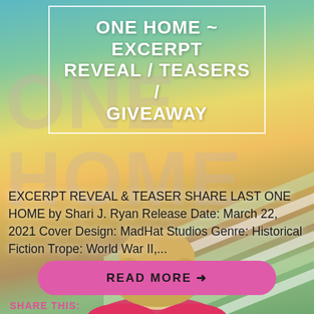[Figure (illustration): Book cover illustration background showing 'ONE HOME' text large in background, tropical/beach scene with stripes, person seen from behind with blonde hair. Overlaid blog post card.]
ONE HOME ~ EXCERPT REVEAL / TEASERS / GIVEAWAY
EXCERPT REVEAL & TEASER SHARE LAST ONE HOME by Shari J. Ryan Release Date: March 22, 2021 Cover Design: MadHat Studios Genre: Historical Fiction Trope: World War II,...
READ MORE →
SHARE THIS: